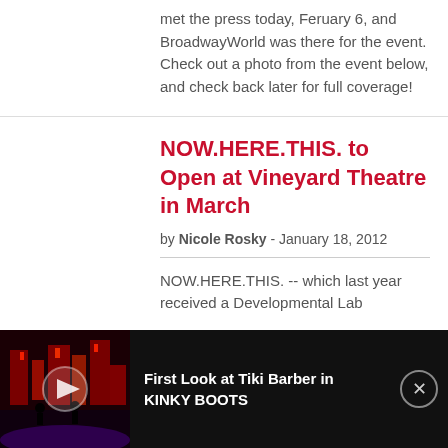met the press today, Feruary 6, and BroadwayWorld was there for the event. Check out a photo from the event below, and check back later for full coverage!
NOW.HERE.THIS. to Open at Vineyard Theatre in March
by Nicole Rosky - January 18, 2012
NOW.HERE.THIS. -- which last year received a Developmental Lab
[Figure (screenshot): Ad banner at bottom: dark background with a theatrical stage image showing red lit set for Kinky Boots with a play button overlay. Text reads 'First Look at Tiki Barber in KINKY BOOTS'. Close button (X) in top right.]